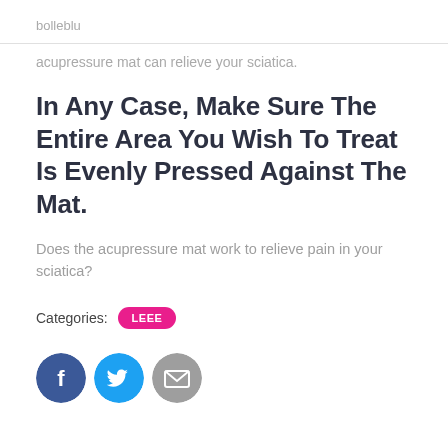bolleblu
acupressure mat can relieve your sciatica.
In Any Case, Make Sure The Entire Area You Wish To Treat Is Evenly Pressed Against The Mat.
Does the acupressure mat work to relieve pain in your sciatica?
Categories: LEEE
[Figure (other): Three social sharing icon circles: Facebook (dark blue with f), Twitter (light blue with bird), Email (gray with envelope)]